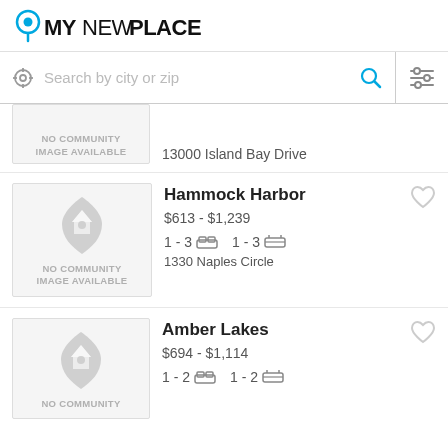MyNewPlace
[Figure (screenshot): Search bar with location icon, 'Search by city or zip' placeholder text, magnify glass icon, and filter icon]
13000 Island Bay Drive
Hammock Harbor
$613 - $1,239
1 - 3 bed  1 - 3 bath
1330 Naples Circle
Amber Lakes
$694 - $1,114
1 - 2 bed  1 - 2 bath